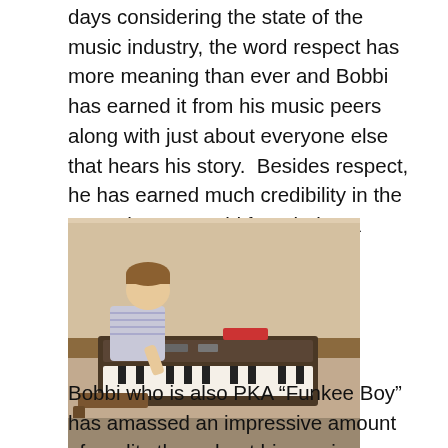days considering the state of the music industry, the word respect has more meaning than ever and Bobbi has earned it from his music peers along with just about everyone else that hears his story.  Besides respect, he has earned much credibility in the Smooth Jazz world from being a repeat-offender on the Billboard charts as an independent artist.
[Figure (photo): Vintage color photograph of a young child (boy) sitting at and playing an organ/keyboard instrument, viewed from the side.]
Bobbi who is also PKA “Funkee Boy” has amassed an impressive amount of credits throughout his music career. At the young age of 15 he was already making a name for himself winning the Connecticut State Organ Championship and also opening for national acts such as Spyro Gyra.  As he progressed